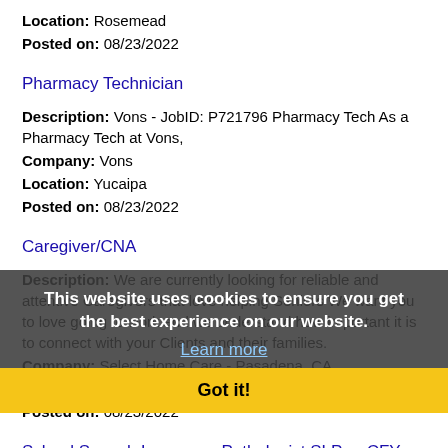Location: Rosemead
Posted on: 08/23/2022
Pharmacy Technician
Description: Vons - JobID: P721796 Pharmacy Tech As a Pharmacy Tech at Vons,
Company: Vons
Location: Yucaipa
Posted on: 08/23/2022
Caregiver/CNA
Description: We are currently looking for reliable and attentive Caregivers that love helping Seniors We want you to love going to work and we understand how important it is to connect with your Clients and their families.
Company: Select Home Care - Pasadena, CA
Location: Rowland Heights
Posted on: 08/23/2022
School Speech Language Pathologist SLP or CFY Short Term
Description: The future is full of possibilities. -At TherapyTravelers, we're excited about what the future holds for special education which is why we're changing the industry for the better. Our team
This website uses cookies to ensure you get the best experience on our website.
Learn more
Got it!